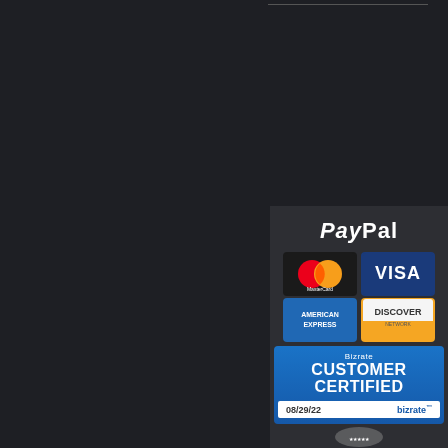WHY SHOP HERE?
CUSTOMER REVIEWS
BRANDS WE LOVE
THE BLOG
PRIVACY POLICY
[Figure (infographic): Payment methods panel showing PayPal logo, MasterCard, Visa, American Express, Discover credit card icons, and a Bizrate Customer Certified badge dated 08/29/22]